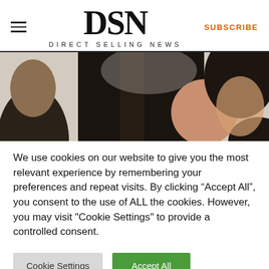DSN — DIRECT SELLING NEWS — SUBSCRIBE
[Figure (photo): Close-up photo of two women with dark hair, blurred background, cropped to show tops of heads and faces in partial view.]
We use cookies on our website to give you the most relevant experience by remembering your preferences and repeat visits. By clicking “Accept All”, you consent to the use of ALL the cookies. However, you may visit "Cookie Settings" to provide a controlled consent.
Cookie Settings | Accept All